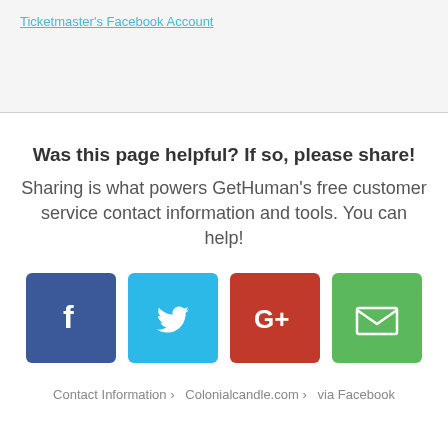Ticketmaster's Facebook Account
Was this page helpful? If so, please share!
Sharing is what powers GetHuman's free customer service contact information and tools. You can help!
[Figure (infographic): Four social sharing buttons: Facebook (blue), Twitter (light blue), Google+ (red), Email (green)]
Contact Information › Colonialcandle.com › via Facebook